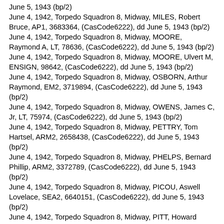June 5, 1943 (bp/2)
June 4, 1942, Torpedo Squadron 8, Midway, MILES, Robert Bruce, AP1, 3683364, (CasCode6222), dd June 5, 1943 (bp/2)
June 4, 1942, Torpedo Squadron 8, Midway, MOORE, Raymond A, LT, 78636, (CasCode6222), dd June 5, 1943 (bp/2)
June 4, 1942, Torpedo Squadron 8, Midway, MOORE, Ulvert M, ENSIGN, 98642, (CasCode6222), dd June 5, 1943 (bp/2)
June 4, 1942, Torpedo Squadron 8, Midway, OSBORN, Arthur Raymond, EM2, 3719894, (CasCode6222), dd June 5, 1943 (bp/2)
June 4, 1942, Torpedo Squadron 8, Midway, OWENS, James C, Jr, LT, 75974, (CasCode6222), dd June 5, 1943 (bp/2)
June 4, 1942, Torpedo Squadron 8, Midway, PETTRY, Tom Hartsel, ARM2, 2658438, (CasCode6222), dd June 5, 1943 (bp/2)
June 4, 1942, Torpedo Squadron 8, Midway, PHELPS, Bernard Phillip, ARM2, 3372789, (CasCode6222), dd June 5, 1943 (bp/2)
June 4, 1942, Torpedo Squadron 8, Midway, PICOU, Aswell Lovelace, SEA2, 6640151, (CasCode6222), dd June 5, 1943 (bp/2)
June 4, 1942, Torpedo Squadron 8, Midway, PITT, Howard William, Jr, SEA1, 3372718, (CasCode6222), dd June 5, 1943 (bp/2)
June 4, 1942, Torpedo Squadron 8, Midway, POLSTON, Francis Samuel, SEA2, 3424577, (CasCode6222), dd